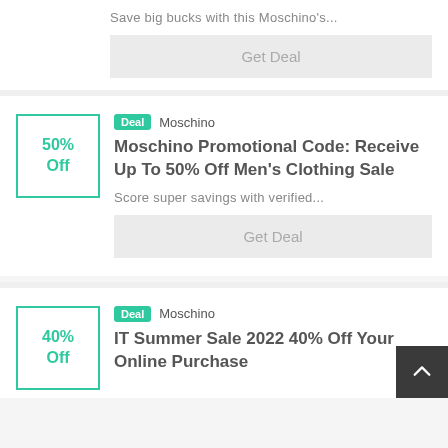Save big bucks with this Moschino's...
Get Deal
Deal  Moschino
50% Off
Moschino Promotional Code: Receive Up To 50% Off Men's Clothing Sale
Score super savings with verified...
Get Deal
Deal  Moschino
40% Off
IT Summer Sale 2022 40% Off Your Online Purchase